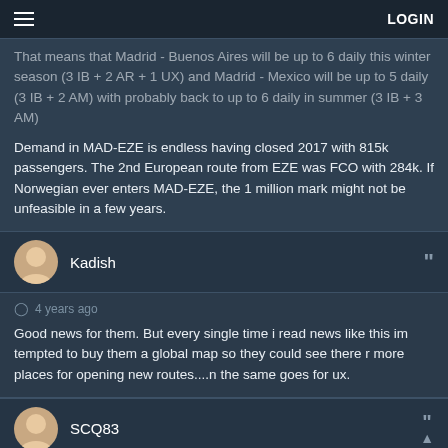LOGIN
That means that Madrid - Buenos Aires will be up to 6 daily this winter season (3 IB + 2 AR + 1 UX) and Madrid - Mexico will be up to 5 daily (3 IB + 2 AM) with probably back to up to 6 daily in summer (3 IB + 3 AM)
Demand in MAD-EZE is endless having closed 2017 with 815k passengers. The 2nd European route from EZE was FCO with 284k. If Norwegian ever enters MAD-EZE, the 1 million mark might not be unfeasible in a few years.
Kadish
4 years ago
Good news for them. But every single time i read news like this im tempted to buy them a global map so they could see there r more places for opening new routes....n the same goes for ux.
SCQ83
4 years ago
It is less risky to add more flights to a well-established destination